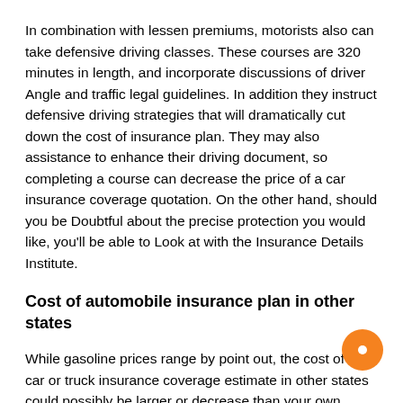In combination with lessen premiums, motorists also can take defensive driving classes. These courses are 320 minutes in length, and incorporate discussions of driver Angle and traffic legal guidelines. In addition they instruct defensive driving strategies that will dramatically cut down the cost of insurance plan. They may also assistance to enhance their driving document, so completing a course can decrease the price of a car insurance coverage quotation. On the other hand, should you be Doubtful about the precise protection you would like, you'll be able to Look at with the Insurance Details Institute.
Cost of automobile insurance plan in other states
While gasoline prices range by point out, the cost of a car or truck insurance coverage estimate in other states could possibly be larger or decrease than your own private. Some aspects may well account for this, including The share of